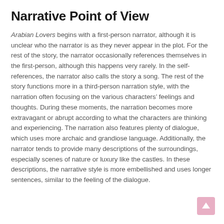Narrative Point of View
Arabian Lovers begins with a first-person narrator, although it is unclear who the narrator is as they never appear in the plot. For the rest of the story, the narrator occasionally references themselves in the first-person, although this happens very rarely. In the self-references, the narrator also calls the story a song. The rest of the story functions more in a third-person narration style, with the narration often focusing on the various characters’ feelings and thoughts. During these moments, the narration becomes more extravagant or abrupt according to what the characters are thinking and experiencing. The narration also features plenty of dialogue, which uses more archaic and grandiose language. Additionally, the narrator tends to provide many descriptions of the surroundings, especially scenes of nature or luxury like the castles. In these descriptions, the narrative style is more embellished and uses longer sentences, similar to the feeling of the dialogue.